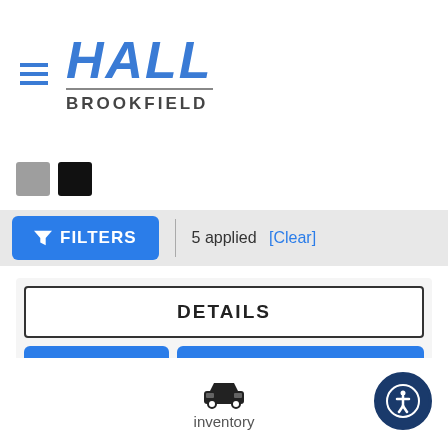[Figure (logo): Hall Brookfield dealership logo with blue bold italic HALL text and gray BROOKFIELD subtext, with hamburger menu icon to the left]
[Figure (infographic): Two color swatches: gray and black squares]
FILTERS | 5 applied [Clear]
DETAILS
SAVE
SE HABLA ESPANOL
VIP Test Drive
[Figure (illustration): Small car icon (front view) above the word inventory]
inventory